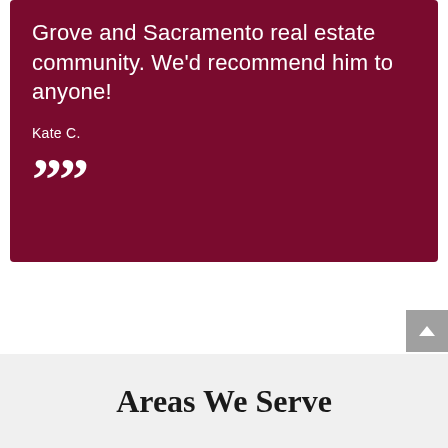Grove and Sacramento real estate community. We'd recommend him to anyone!
Kate C.
””
Areas We Serve